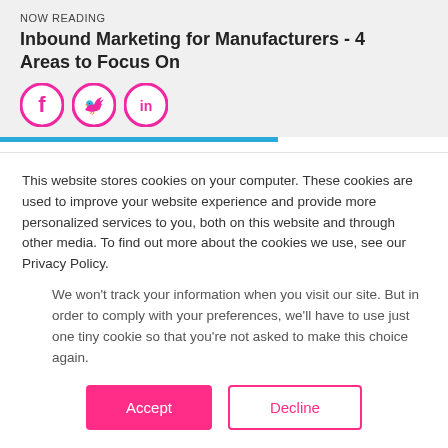NOW READING
Inbound Marketing for Manufacturers - 4 Areas to Focus On
[Figure (infographic): Three pink circular social media share buttons: Facebook, Twitter, LinkedIn]
While the world of traditional marketing is slowly dying, one thing that isn't is email marketing!
Did you know that 93% of B2B and B2C
This website stores cookies on your computer. These cookies are used to improve your website experience and provide more personalized services to you, both on this website and through other media. To find out more about the cookies we use, see our Privacy Policy.
We won't track your information when you visit our site. But in order to comply with your preferences, we'll have to use just one tiny cookie so that you're not asked to make this choice again.